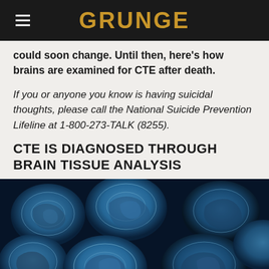GRUNGE
could soon change. Until then, here's how brains are examined for CTE after death.
If you or anyone you know is having suicidal thoughts, please call the National Suicide Prevention Lifeline at 1-800-273-TALK (8255).
CTE IS DIAGNOSED THROUGH BRAIN TISSUE ANALYSIS
[Figure (photo): Multiple blue-toned brain MRI scan images laid out overlapping each other on a surface, viewed from above.]